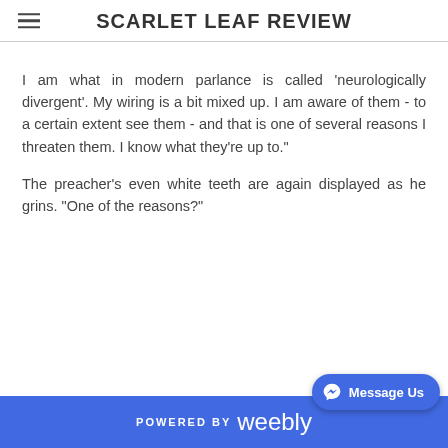SCARLET LEAF REVIEW
I am what in modern parlance is called 'neurologically divergent'. My wiring is a bit mixed up. I am aware of them - to a certain extent see them - and that is one of several reasons I threaten them. I know what they're up to."
The preacher's even white teeth are again displayed as he grins. “One of the reasons?”
POWERED BY weebly